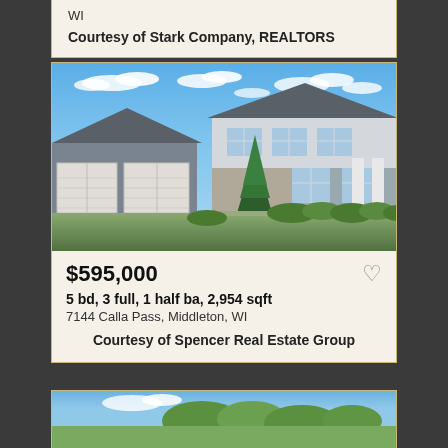WI
Courtesy of Stark Company, REALTORS
[Figure (photo): Two-story modern home with stone and siding exterior, large garage, landscaped front yard, blue sky with clouds]
$595,000
5 bd, 3 full, 1 half ba, 2,954 sqft
7144 Calla Pass, Middleton, WI
Courtesy of Spencer Real Estate Group
[Figure (photo): Partial view of another house listing, trees visible, blue sky, cut off at bottom of page]